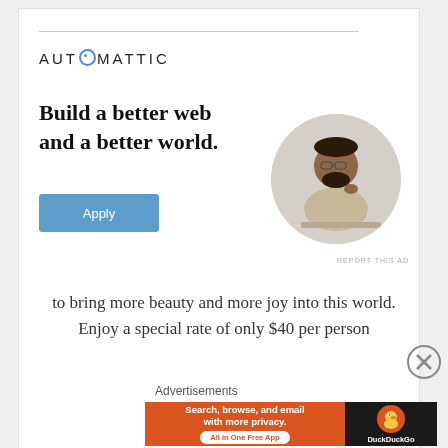[Figure (advertisement): Automattic advertisement card with logo, headline 'Build a better web and a better world.', blue Apply button, and circular photo of a man]
to bring more beauty and more joy into this world. Enjoy a special rate of only $40 per person
Advertisements
[Figure (advertisement): DuckDuckGo banner ad: 'Search, browse, and email with more privacy. All in One Free App' on orange background, DuckDuckGo logo on dark background]